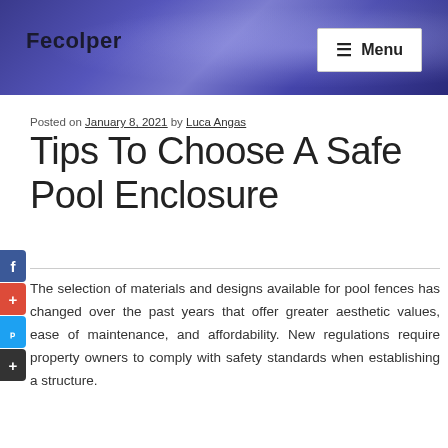Fecolper   ≡ Menu
Posted on January 8, 2021 by Luca Angas
Tips To Choose A Safe Pool Enclosure
The selection of materials and designs available for pool fences has changed over the past years that offer greater aesthetic values, ease of maintenance, and affordability. New regulations require property owners to comply with safety standards when establishing a structure.